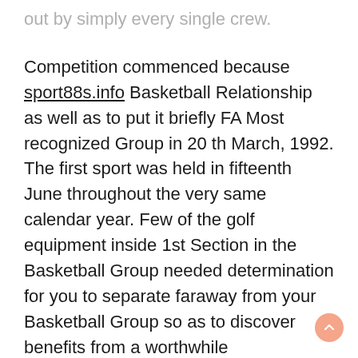out by simply every single crew.
Competition commenced because sport88s.info Basketball Relationship as well as to put it briefly FA Most recognized Group in 20 th March, 1992. The first sport was held in fifteenth June throughout the very same calendar year. Few of the golf equipment inside 1st Section in the Basketball Group needed determination for you to separate faraway from your Basketball Group so as to discover benefits from a worthwhile TELEVISION SET appropriate commitment.
Considering that 1888, Your Basketball Group